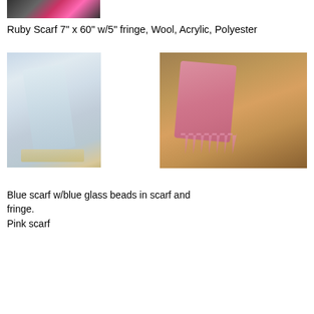[Figure (photo): Partial image at top — appears to show pink fringe or decorative textile element against dark background]
Ruby Scarf 7" x 60" w/5" fringe, Wool, Acrylic, Polyester
[Figure (photo): Blue/light gray scarf with fringe laid on a wooden table with baskets in background]
[Figure (photo): Pink scarf with fringe laid on a wooden table with wicker baskets in background]
Blue scarf w/blue glass beads in scarf and fringe.
Pink scarf